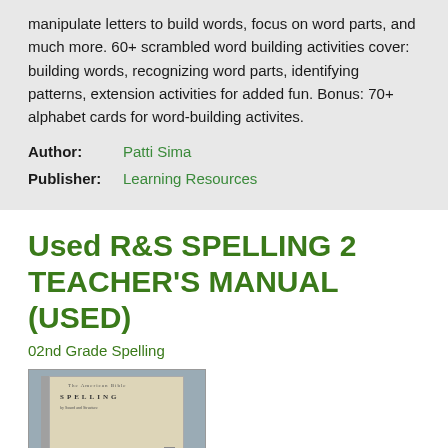manipulate letters to build words, focus on word parts, and much more. 60+ scrambled word building activities cover: building words, recognizing word parts, identifying patterns, extension activities for added fun. Bonus: 70+ alphabet cards for word-building activites.
Author: Patti Sima
Publisher: Learning Resources
Used R&S SPELLING 2 TEACHER'S MANUAL (USED)
02nd Grade Spelling
[Figure (photo): Photo of a used spelling textbook (SPELLING by Sound and Structure, book 2) with a grey cover and cream-colored interior pages visible.]